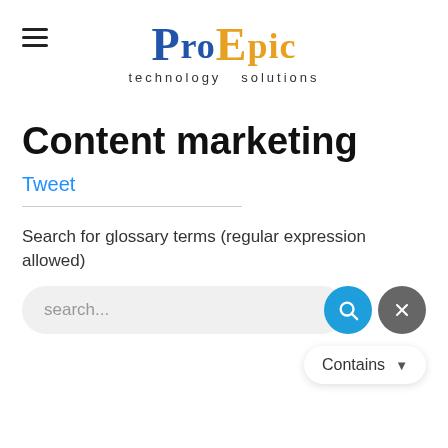[Figure (logo): ProEpic Technology Solutions logo. 'PRO' in blue serif font, 'EPIC' in orange/gold serif font, 'technology solutions' subtitle in small gray sans-serif text below.]
Content marketing
Tweet
Search for glossary terms (regular expression allowed)
[Figure (screenshot): Search input box with placeholder 'search...' and a cyan/blue circular search button with a magnifying glass icon, plus a partially visible dark gray circular button. Below is a white pill-shaped dropdown reading 'Contains' with a dropdown arrow.]